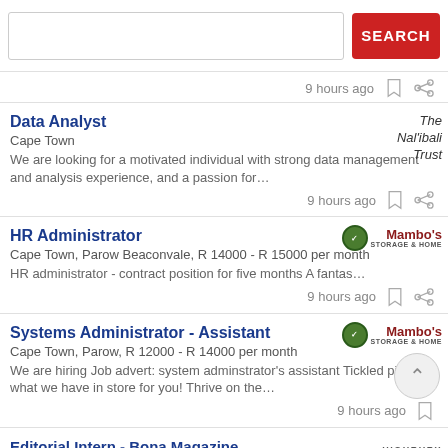[Figure (screenshot): Search bar with text input and red SEARCH button]
9 hours ago
Data Analyst
Cape Town
We are looking for a motivated individual with strong data management and analysis experience, and a passion for…
The Nal'ibali Trust
9 hours ago
HR Administrator
Cape Town, Parow Beaconvale, R 14000 - R 15000 per month
HR administrator - contract position for five months A fantas…
9 hours ago
Systems Administrator - Assistant
Cape Town, Parow, R 12000 - R 14000 per month
We are hiring Job advert: system adminstrator's assistant Tickled pink at what we have in store for you! Thrive on the…
9 hours ago
Editorial Intern - Bona Magazine